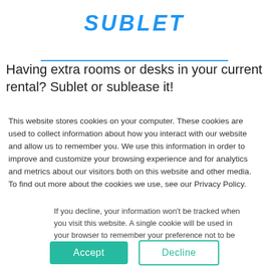SUBLET
Having extra rooms or desks in your current rental? Sublet or sublease it!
This website stores cookies on your computer. These cookies are used to collect information about how you interact with our website and allow us to remember you. We use this information in order to improve and customize your browsing experience and for analytics and metrics about our visitors both on this website and other media. To find out more about the cookies we use, see our Privacy Policy.
If you decline, your information won't be tracked when you visit this website. A single cookie will be used in your browser to remember your preference not to be tracked.